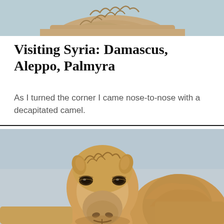[Figure (photo): Top portion of a camel's head/fur against a light sky background, cropped at top of page]
Visiting Syria: Damascus, Aleppo, Palmyra
As I turned the corner I came nose-to-nose with a decapitated camel.
[Figure (photo): Close-up photograph of a camel's face looking directly at the camera, with another camel's hump visible in the background right. Light blue-gray sky behind.]